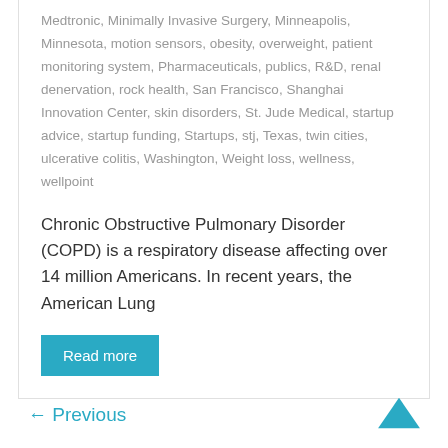Medtronic, Minimally Invasive Surgery, Minneapolis, Minnesota, motion sensors, obesity, overweight, patient monitoring system, Pharmaceuticals, publics, R&D, renal denervation, rock health, San Francisco, Shanghai Innovation Center, skin disorders, St. Jude Medical, startup advice, startup funding, Startups, stj, Texas, twin cities, ulcerative colitis, Washington, Weight loss, wellness, wellpoint
Chronic Obstructive Pulmonary Disorder (COPD) is a respiratory disease affecting over 14 million Americans. In recent years, the American Lung
Read more
← Previous